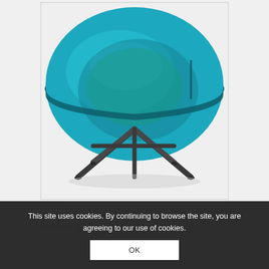[Figure (photo): A round teal/blue translucent glass tray coffee table with dark metal cross-base legs on a light grey/white background]
This site uses cookies. By continuing to browse the site, you are agreeing to our use of cookies.
OK
McCollin Bryan
LENS COFFEE TABLE BLUE
Coffee table